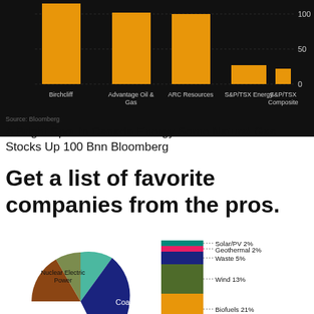[Figure (bar-chart): Canada Energy Natural Gas Stocks Performance]
Source: Bloomberg
A Bright Spot In Canada Energy Some Natural Gas Stocks Up 100 Bnn Bloomberg
Get a list of favorite companies from the pros.
[Figure (pie-chart): Energy Mix]
[Figure (stacked-bar-chart): Renewable Energy Breakdown]